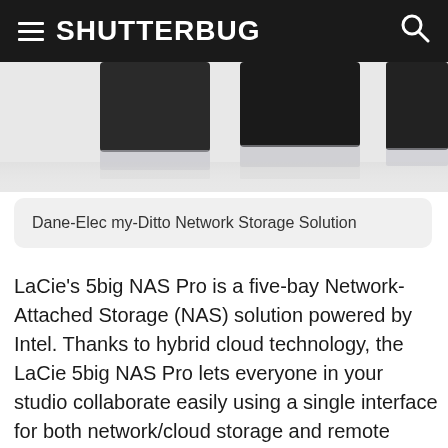SHUTTERBUG
[Figure (photo): Partial product image showing dark storage hardware devices against a light/reflective background, cropped at the top]
Dane-Elec my-Ditto Network Storage Solution
LaCie's 5big NAS Pro is a five-bay Network-Attached Storage (NAS) solution powered by Intel. Thanks to hybrid cloud technology, the LaCie 5big NAS Pro lets everyone in your studio collaborate easily using a single interface for both network/cloud storage and remote access. Plus, data stays secure owing to SimplyRAID and client-side cloud encryption. LaCie says they offer a seamless hybrid cloud solution that